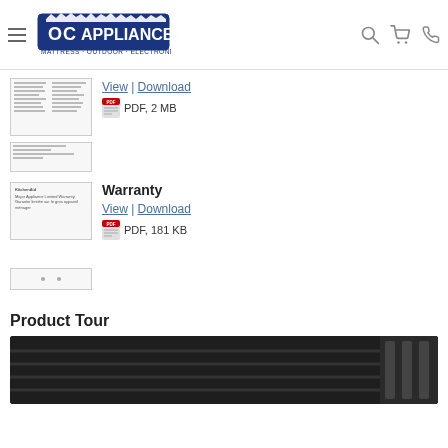[Figure (logo): DC Appliance logo with text MATTRESS · OUTDOOR · ELECTRONICS]
[Figure (screenshot): Document thumbnail showing a spec sheet with lines of text]
View | Download
PDF, 2 MB
[Figure (screenshot): Small document thumbnail]
Warranty
View | Download
PDF, 181 KB
[Figure (screenshot): KitchenAid warranty document thumbnail]
[Figure (screenshot): Small document thumbnail with dots navigation]
Product Tour
[Figure (photo): Product tour image showing a dark appliance component]